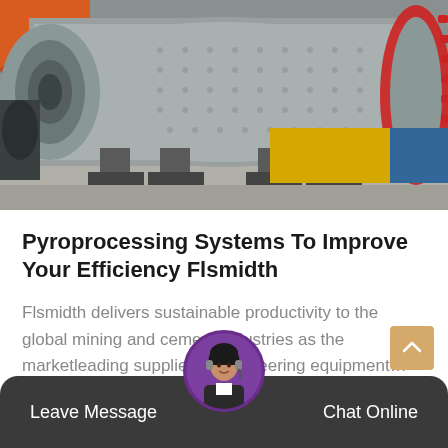[Figure (photo): Industrial ball mill / grinding mill machinery in a manufacturing or industrial facility. Large cylindrical grey drum with red gear ring visible on the right side, orange cylinder in upper left, yellow equipment block in background.]
Pyroprocessing Systems To Improve Your Efficiency Flsmidth
Flsmidth delivers sustainable productivity to the global mining and cement industries as the marketleading supplier of engineering equipment…